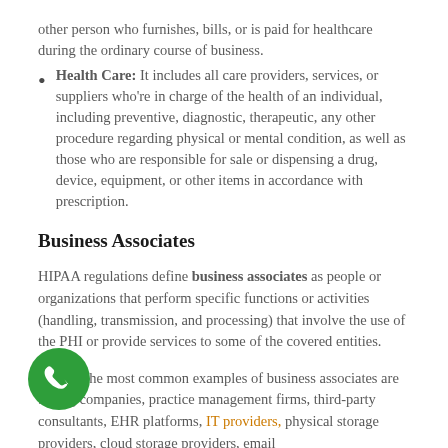other person who furnishes, bills, or is paid for healthcare during the ordinary course of business.
Health Care: It includes all care providers, services, or suppliers who're in charge of the health of an individual, including preventive, diagnostic, therapeutic, any other procedure regarding physical or mental condition, as well as those who are responsible for sale or dispensing a drug, device, equipment, or other items in accordance with prescription.
Business Associates
HIPAA regulations define business associates as people or organizations that perform specific functions or activities (handling, transmission, and processing) that involve the use of the PHI or provide services to some of the covered entities.
Among the most common examples of business associates are billing companies, practice management firms, third-party consultants, EHR platforms, IT providers, physical storage providers, cloud storage providers, email